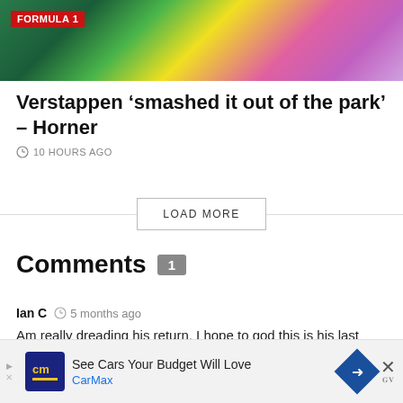[Figure (photo): Color photo showing Formula 1 car or racing elements, partially cropped at top with FORMULA 1 badge overlay]
Verstappen ‘smashed it out of the park’ – Horner
10 HOURS AGO
LOAD MORE
Comments 1
Ian C  5 months ago
Am really dreading his return. I hope to god this is his last season in F1.
Reply
[Figure (screenshot): Advertisement banner: See Cars Your Budget Will Love - CarMax]